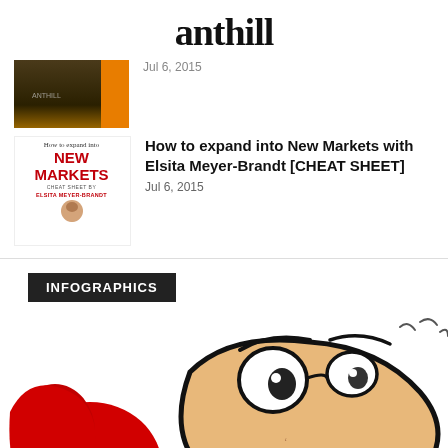anthill
[Figure (screenshot): Dark banner thumbnail image for an article]
Jul 6, 2015
[Figure (illustration): How to expand into New Markets cover image with red text and author photo]
How to expand into New Markets with Elsita Meyer-Brandt [CHEAT SHEET]
Jul 6, 2015
INFOGRAPHICS
[Figure (illustration): Cartoon ant mascot character with large nose, glasses, and grinning teeth, wearing red, close-up face view]